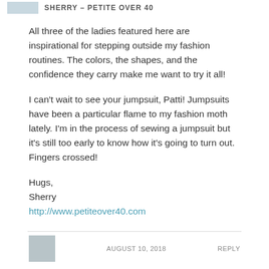SHERRY – PETITE OVER 40
All three of the ladies featured here are inspirational for stepping outside my fashion routines. The colors, the shapes, and the confidence they carry make me want to try it all!
I can't wait to see your jumpsuit, Patti! Jumpsuits have been a particular flame to my fashion moth lately. I'm in the process of sewing a jumpsuit but it's still too early to know how it's going to turn out. Fingers crossed!
Hugs,
Sherry
http://www.petiteover40.com
AUGUST 10, 2018    REPLY